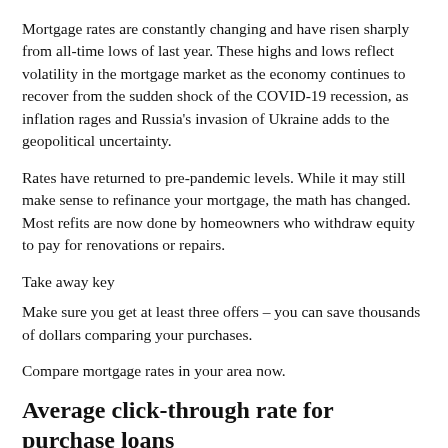Mortgage rates are constantly changing and have risen sharply from all-time lows of last year. These highs and lows reflect volatility in the mortgage market as the economy continues to recover from the sudden shock of the COVID-19 recession, as inflation rages and Russia's invasion of Ukraine adds to the geopolitical uncertainty.
Rates have returned to pre-pandemic levels. While it may still make sense to refinance your mortgage, the math has changed. Most refits are now done by homeowners who withdraw equity to pay for renovations or repairs.
Take away key
Make sure you get at least three offers – you can save thousands of dollars comparing your purchases.
Compare mortgage rates in your area now.
Average click-through rate for purchase loans
The average rate clicked by Bankrate readers for 30-year purchase mortgages are 3.7%. At this average rate, you'll pay $469.28 a